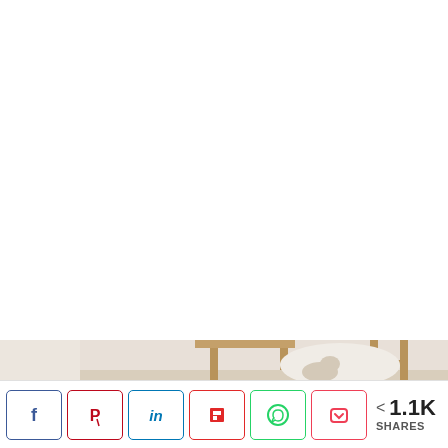[Figure (photo): Partial view of a cozy room with wooden furniture, a soft white blanket/throw, and light flooring. A cat appears to be resting on a chair or surface near a wooden ladder.]
[Figure (infographic): Social share bar with six buttons: Facebook (blue border, f icon), Pinterest (red border, P icon), LinkedIn (blue border, in icon), Flipboard (red border, f icon), WhatsApp (green border, phone icon), Pocket (red border, pocket icon), and a share count showing < 1.1K SHARES]